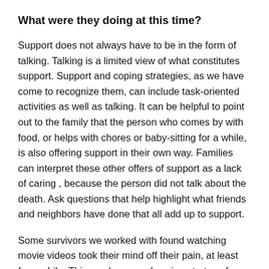What were they doing at this time?
Support does not always have to be in the form of talking. Talking is a limited view of what constitutes support. Support and coping strategies, as we have come to recognize them, can include task-oriented activities as well as talking. It can be helpful to point out to the family that the person who comes by with food, or helps with chores or baby-sitting for a while, is also offering support in their own way. Families can interpret these other offers of support as a lack of caring , because the person did not talk about the death. Ask questions that help highlight what friends and neighbors have done that all add up to support.
Some survivors we worked with found watching movie videos took their mind off their pain, at least for a while. This can be a good coping strategy for those